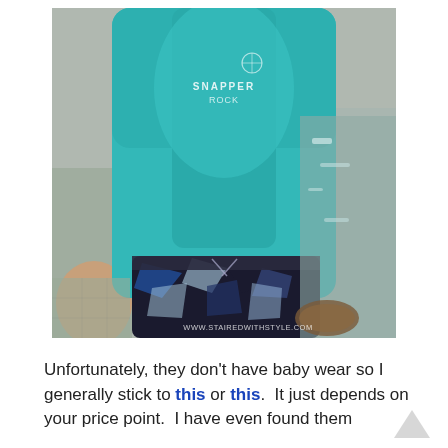[Figure (photo): Child wearing a teal/turquoise long-sleeve Snapper Rock rash guard top and black, blue, and white patterned swim shorts or leggings, photographed from above. A watermark reading 'WWW.STAIREDWITHSTYLE.COM' is visible in the lower right of the image.]
Unfortunately, they don't have baby wear so I generally stick to this or this.  It just depends on your price point.  I have even found them